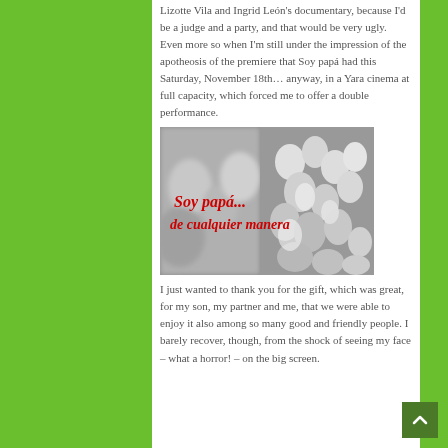Lizotte Vila and Ingrid León's documentary, because I'd be a judge and a party, and that would be very ugly. Even more so when I'm still under the impression of the apotheosis of the premiere that Soy papá had this Saturday, November 18th… anyway, in a Yara cinema at full capacity, which forced me to offer a double performance.
[Figure (photo): Black and white photo of a crowd of men in white shirts, with red cursive Spanish text overlay reading 'Soy papá... de cualquier manera']
I just wanted to thank you for the gift, which was great, for my son, my partner and me, that we were able to enjoy it also among so many good and friendly people. I barely recover, though, from the shock of seeing my face – what a horror! – on the big screen.